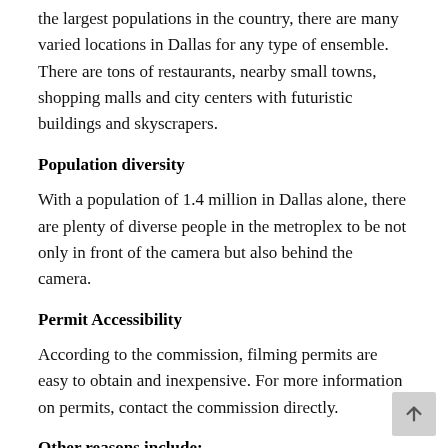the largest populations in the country, there are many varied locations in Dallas for any type of ensemble. There are tons of restaurants, nearby small towns, shopping malls and city centers with futuristic buildings and skyscrapers.
Population diversity
With a population of 1.4 million in Dallas alone, there are plenty of diverse people in the metroplex to be not only in front of the camera but also behind the camera.
Permit Accessibility
According to the commission, filming permits are easy to obtain and inexpensive. For more information on permits, contact the commission directly.
Other reasons include:
Equipment
Talent